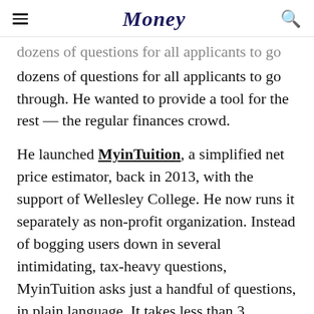Money
dozens of questions for all applicants to go through. He wanted to provide a tool for the rest — the regular finances crowd.
He launched MyinTuition, a simplified net price estimator, back in 2013, with the support of Wellesley College. He now runs it separately as non-profit organization. Instead of bogging users down in several intimidating, tax-heavy questions, MyinTuition asks just a handful of questions, in plain language. It takes less than 3 minutes to get a result.